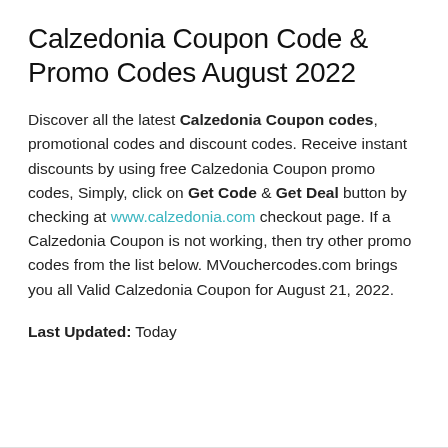Calzedonia Coupon Code & Promo Codes August 2022
Discover all the latest Calzedonia Coupon codes, promotional codes and discount codes. Receive instant discounts by using free Calzedonia Coupon promo codes, Simply, click on Get Code & Get Deal button by checking at www.calzedonia.com checkout page. If a Calzedonia Coupon is not working, then try other promo codes from the list below. MVouchercodes.com brings you all Valid Calzedonia Coupon for August 21, 2022.
Last Updated: Today